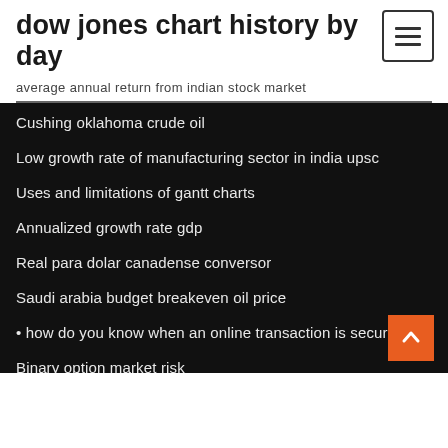dow jones chart history by day
average annual return from indian stock market
Cushing oklahoma crude oil
Low growth rate of manufacturing sector in india upsc
Uses and limitations of gantt charts
Annualized growth rate gdp
Real para dolar canadense conversor
Saudi arabia budget breakeven oil price
• how do you know when an online transaction is secure
Binary option market risk
Physical contraction of the muscle
High and low 1963 movie online